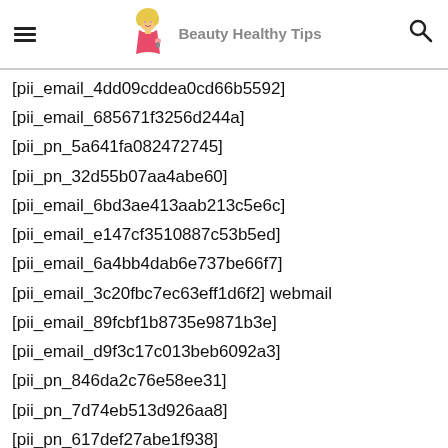Beauty Healthy Tips
[pii_email_4dd09cddea0cd66b5592]
[pii_email_685671f3256d244a]
[pii_pn_5a641fa082472745]
[pii_pn_32d55b07aa4abe60]
[pii_email_6bd3ae413aab213c5e6c]
[pii_email_e147cf3510887c53b5ed]
[pii_email_6a4bb4dab6e737be66f7]
[pii_email_3c20fbc7ec63eff1d6f2] webmail
[pii_email_89fcbf1b8735e9871b3e]
[pii_email_d9f3c17c013beb6092a3]
[pii_pn_846da2c76e58ee31]
[pii_pn_7d74eb513d926aa8]
[pii_pn_617def27abe1f938]
[pii_pn_1fa1528654e58d29]
[pii_email_4873497df0bd9b9fc2a4]